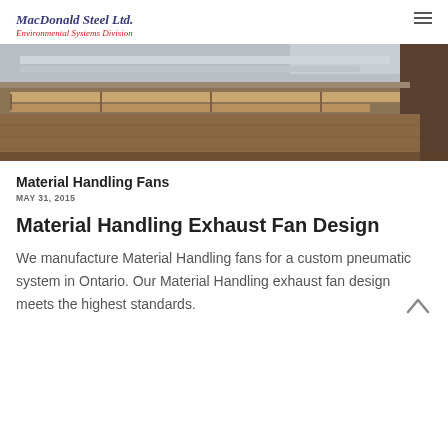MacDonald Steel Ltd. Environmental Systems Division
[Figure (photo): Photo of material handling fan components — metal panels and wooden pallets on a warehouse floor]
Material Handling Fans
MAY 31, 2015
Material Handling Exhaust Fan Design
We manufacture Material Handling fans for a custom pneumatic system in Ontario. Our Material Handling exhaust fan design meets the highest standards.